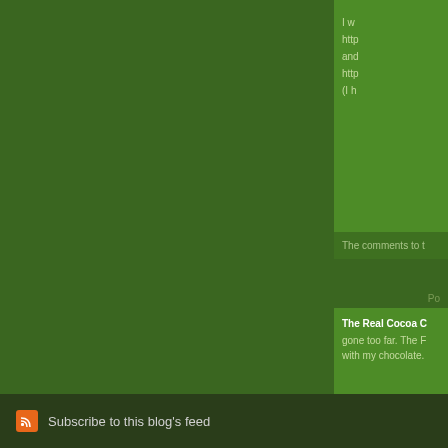I w...
http...
and...
http...
(I h...
The comments to t
Po
The Real Cocoa C
gone too far. The F... with my chocolate.
Subscribe to this blog's feed